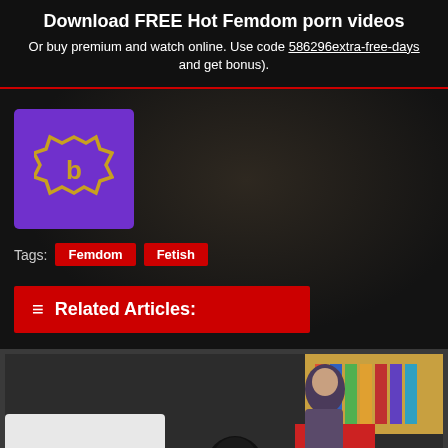Download FREE Hot Femdom porn videos
Or buy premium and watch online. Use code 586296extra-free-days and get bonus).
[Figure (logo): Purple square logo with stylized gold/yellow icon]
Tags: Femdom Fetish
≡ Related Articles:
[Figure (photo): Photograph showing two people in a room, one wearing a black hood/mask]